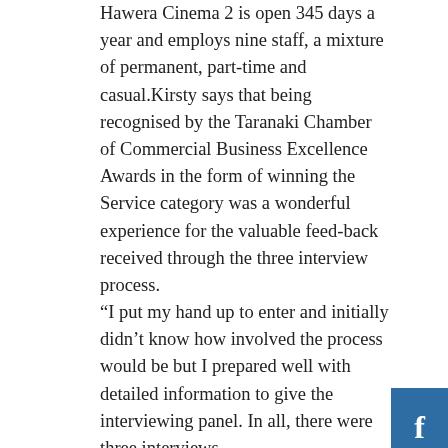Hawera Cinema 2 is open 345 days a year and employs nine staff, a mixture of permanent, part-time and casual.Kirsty says that being recognised by the Taranaki Chamber of Commercial Business Excellence Awards in the form of winning the Service category was a wonderful experience for the valuable feed-back received through the three interview process. “I put my hand up to enter and initially didn’t know how involved the process would be but I prepared well with detailed information to give the interviewing panel. In all, there were three interviews. “The most valuable outcome was the feedback and great ideas as to how to evolve the business further so it was very empowering.”These included introducing a loyalty programme, structural improvements to enhance the theatre experience and staffing incentives. Currently the two Cinemas hold 171 and 133 viewers respectively and each offers three seating options, from luxury lounge seats, standard seating and a row of bean